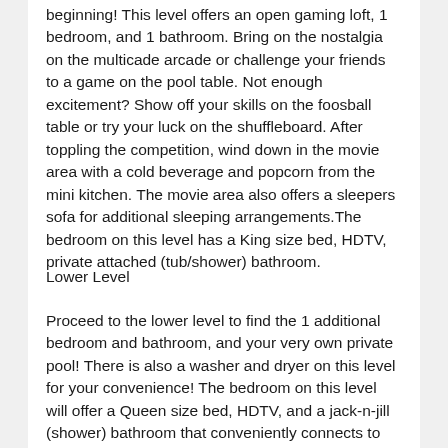beginning! This level offers an open gaming loft, 1 bedroom, and 1 bathroom. Bring on the nostalgia on the multicade arcade or challenge your friends to a game on the pool table. Not enough excitement? Show off your skills on the foosball table or try your luck on the shuffleboard. After toppling the competition, wind down in the movie area with a cold beverage and popcorn from the mini kitchen. The movie area also offers a sleepers sofa for additional sleeping arrangements.The bedroom on this level has a King size bed, HDTV, private attached (tub/shower) bathroom.
Lower Level
Proceed to the lower level to find the 1 additional bedroom and bathroom, and your very own private pool! There is also a washer and dryer on this level for your convenience! The bedroom on this level will offer a Queen size bed, HDTV, and a jack-n-jill (shower) bathroom that conveniently connects to the hallway. If